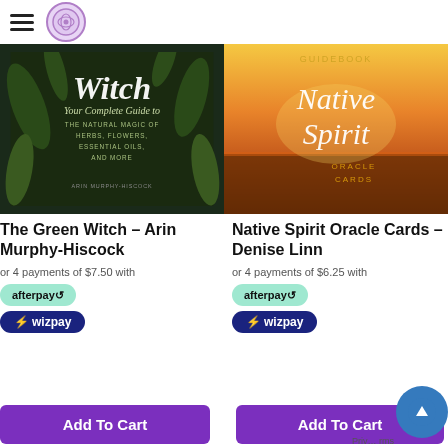Navigation header with hamburger menu and logo
[Figure (photo): Book cover for 'The Green Witch' by Arin Murphy-Hiscock — dark green background with fern leaves, text: 'Witch Your Complete Guide to THE NATURAL MAGIC OF HERBS, FLOWERS, ESSENTIAL OILS, AND MORE' by Arin Murphy-Hiscock]
The Green Witch – Arin Murphy-Hiscock
or 4 payments of $7.50 with
afterpay
wizpay
Add To Cart
[Figure (photo): Book cover for 'Native Spirit Oracle Cards' by Denise Linn — sunset landscape with warm orange/gold sky, white script text 'Native Spirit' with 'ORACLE CARDS' below, and 'GUIDEBOOK' at top]
Native Spirit Oracle Cards – Denise Linn
or 4 payments of $6.25 with
afterpay
wizpay
Add To Cart